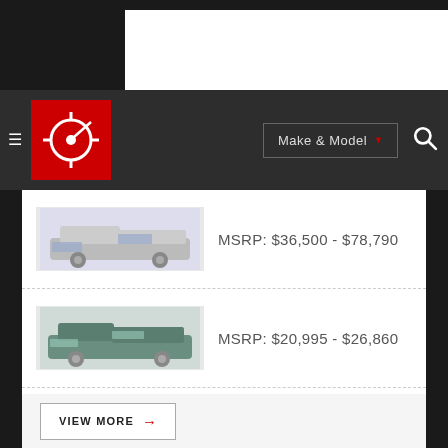[Figure (screenshot): Navigation bar with hamburger menu, Edmunds logo (red circle with E), Make & Model dropdown button, and search icon]
MSRP: $36,500 - $78,790
MSRP: $20,995 - $26,860
MSRP: $30,400 - $58,500
MSRP: $52,000 - $75,600
VIEW MORE →